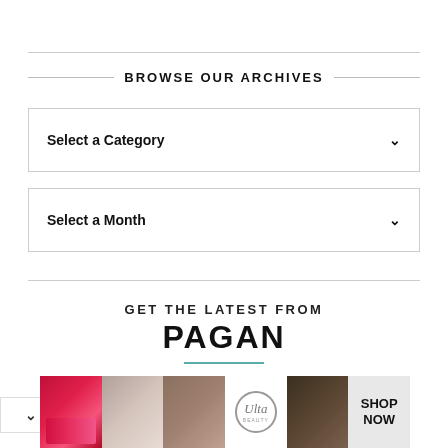BROWSE OUR ARCHIVES
Select a Category
Select a Month
GET THE LATEST FROM
PAGAN
SIGN UP FOR OUR NEWSLETTER
[Figure (photo): ULTA Beauty advertisement banner showing makeup looks including lips, brush, eye makeup, ULTA logo, and Shop Now call to action]